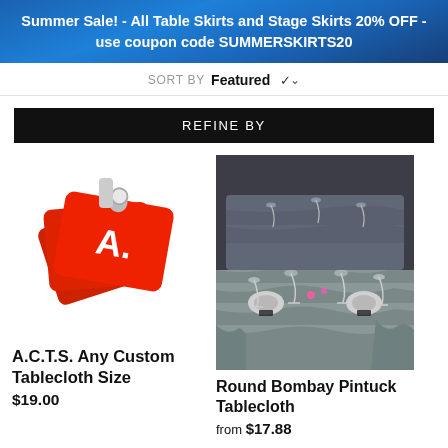Summer Sale! - All Table Skirts and Stage Skirts 20% OFF - use coupon code SUMMERSKIRTS20
SORT BY Featured
REFINE BY
[Figure (logo): A.C.T.S. red price tag logo with letters A.C.T.S. on overlapping red tag shapes]
A.C.T.S. Any Custom Tablecloth Size
$19.00
[Figure (photo): Round table set for dinner event covered with silver/grey pintuck tablecloth with wine glasses and place settings]
Round Bombay Pintuck Tablecloth
from $17.88